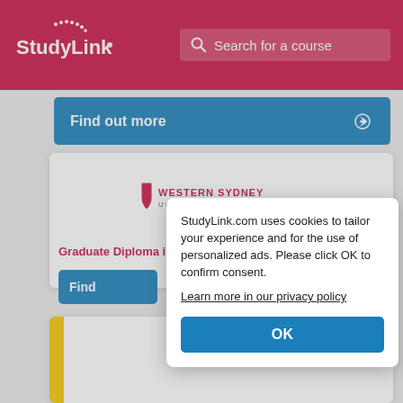StudyLink | Search for a course
Find out more
[Figure (logo): Western Sydney University logo with shield emblem]
Graduate Diploma in Health Services Management
Find
StudyLink.com uses cookies to tailor your experience and for the use of personalized ads. Please click OK to confirm consent. Learn more in our privacy policy
OK